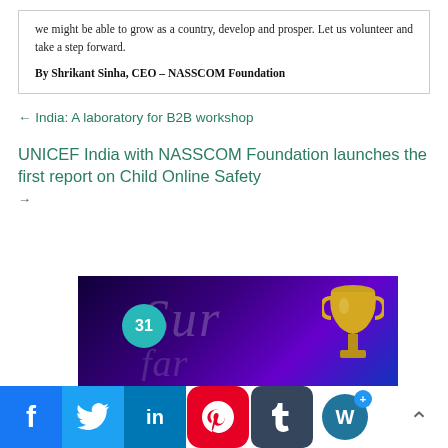we might be able to grow as a country, develop and prosper. Let us volunteer and take a step forward.
By Shrikant Sinha, CEO – NASSCOM Foundation
← India: A laboratory for B2B workshop
UNICEF India with NASSCOM Foundation launches the first report on Child Online Safety
→
[Figure (photo): Award event banner with trophy graphic, circular '31' badge, and decorative script text on a purple/blue gradient background. Social media share icons (Facebook, Twitter, LinkedIn, Pinterest, Tumblr, WordPress) visible at bottom.]